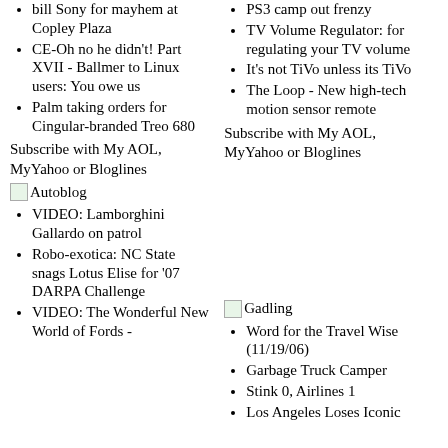bill Sony for mayhem at Copley Plaza
CE-Oh no he didn't! Part XVII - Ballmer to Linux users: You owe us
Palm taking orders for Cingular-branded Treo 680
PS3 camp out frenzy
TV Volume Regulator: for regulating your TV volume
It's not TiVo unless its TiVo
The Loop - New high-tech motion sensor remote
Subscribe with My AOL, MyYahoo or Bloglines
Subscribe with My AOL, MyYahoo or Bloglines
[Figure (logo): Autoblog logo image]
VIDEO: Lamborghini Gallardo on patrol
Robo-exotica: NC State snags Lotus Elise for '07 DARPA Challenge
VIDEO: The Wonderful New World of Fords -
[Figure (logo): Gadling logo image]
Word for the Travel Wise (11/19/06)
Garbage Truck Camper
Stink 0, Airlines 1
Los Angeles Loses Iconic